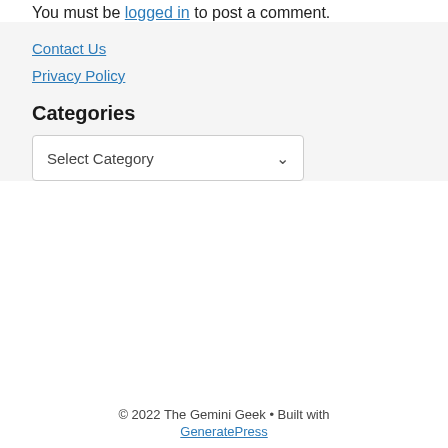You must be logged in to post a comment.
Contact Us
Privacy Policy
Categories
Select Category
© 2022 The Gemini Geek • Built with GeneratePress